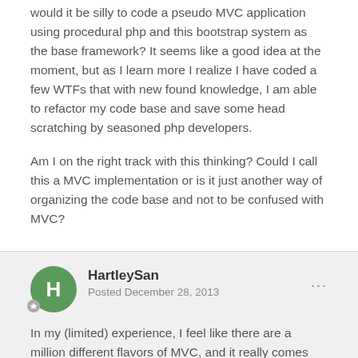would it be silly to code a pseudo MVC application using procedural php and this bootstrap system as the base framework? It seems like a good idea at the moment, but as I learn more I realize I have coded a few WTFs that with new found knowledge, I am able to refactor my code base and save some head scratching by seasoned php developers.
Am I on the right track with this thinking? Could I call this a MVC implementation or is it just another way of organizing the code base and not to be confused with MVC?
HartleySan
Posted December 28, 2013
In my (limited) experience, I feel like there are a million different flavors of MVC, and it really comes down to how each person defines MVC as per what they're most comfortable with.